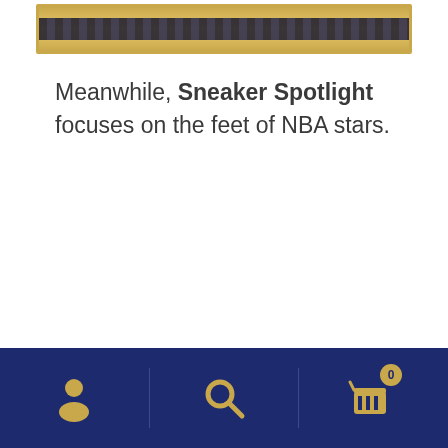[Figure (illustration): A banner/image with gold border and dark textured interior, partially visible at top of page]
Meanwhile, Sneaker Spotlight focuses on the feet of NBA stars.
[Figure (infographic): Dark navy blue bottom navigation bar with three gold icons: a user/person icon on the left, a search/magnifying glass icon in the center, and a shopping cart icon with a badge showing '0' on the right. The icons are separated by faint vertical dividers.]